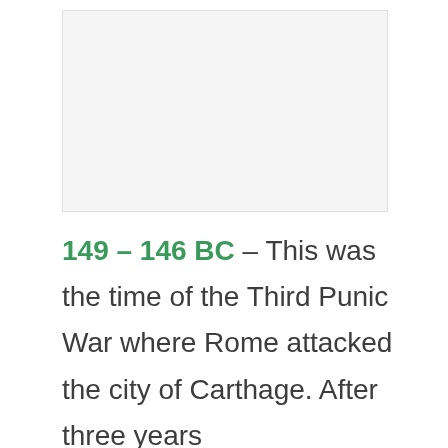[Figure (other): Blank light gray rectangular image placeholder at the top of the page]
149 – 146 BC – This was the time of the Third Punic War where Rome attacked the city of Carthage. After three years